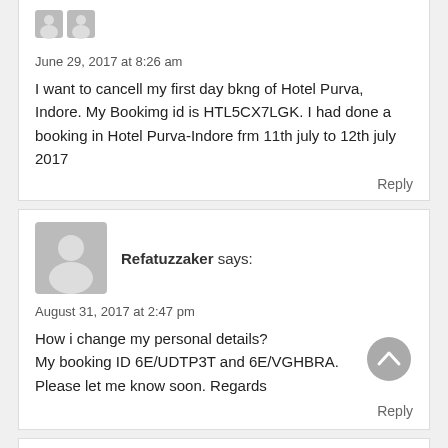[Figure (illustration): Two small grey avatar icons side by side at the top]
June 29, 2017 at 8:26 am
I want to cancell my first day bkng of Hotel Purva, Indore. My Bookimg id is HTL5CX7LGK. I had done a booking in Hotel Purva-Indore frm 11th july to 12th july 2017
Reply
[Figure (illustration): Grey avatar/profile icon placeholder image]
Refatuzzaker says:
August 31, 2017 at 2:47 pm
How i change my personal details?
My booking ID 6E/UDTP3T and 6E/VGHBRA.
Please let me know soon. Regards
Reply